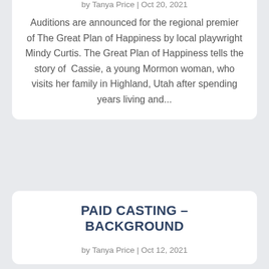by Tanya Price | Oct 20, 2021
Auditions are announced for the regional premier of The Great Plan of Happiness by local playwright Mindy Curtis. The Great Plan of Happiness tells the story of Cassie, a young Mormon woman, who visits her family in Highland, Utah after spending years living and...
PAID CASTING – BACKGROUND
by Tanya Price | Oct 12, 2021